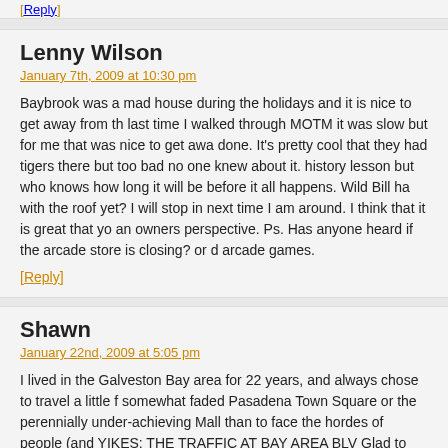[Reply]
Lenny Wilson
January 7th, 2009 at 10:30 pm
Baybrook was a mad house during the holidays and it is nice to get away from th… last time I walked through MOTM it was slow but for me that was nice to get awa… done. It's pretty cool that they had tigers there but too bad no one knew about it. … history lesson but who knows how long it will be before it all happens. Wild Bill ha… with the roof yet? I will stop in next time I am around. I think that it is great that yo… an owners perspective. Ps. Has anyone heard if the arcade store is closing? or d… arcade games.
[Reply]
Shawn
January 22nd, 2009 at 5:05 pm
I lived in the Galveston Bay area for 22 years, and always chose to travel a little f… somewhat faded Pasadena Town Square or the perennially under-achieving Mall… than to face the hordes of people (and YIKES: THE TRAFFIC AT BAY AREA BLV… Glad to hear that MotM is rallying in the aftermath of Ike!